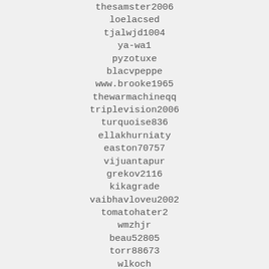thesamster2006
loelacsed
tjalwjd1004
ya-wa1
pyzotuxe
blacvpeppe
www.brooke1965
thewarmachineqq
triplevision2006
turquoise836
ellakhurniaty
easton70757
vijuantapur
grekov2116
kikagrade
vaibhavloveu2002
tomatohater2
wmzhjr
beau52805
torr88673
wlkoch
ankurgodiyal
vmendoza785
vadipset757
tifinale